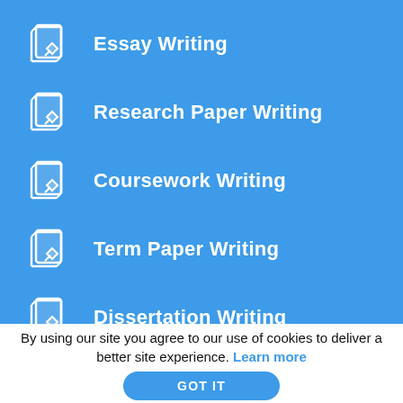Essay Writing
Research Paper Writing
Coursework Writing
Term Paper Writing
Dissertation Writing
TERMS & CONDITIONS
MONEY BACK POLICY
REVISION POLICY
By using our site you agree to our use of cookies to deliver a better site experience. Learn more
GOT IT